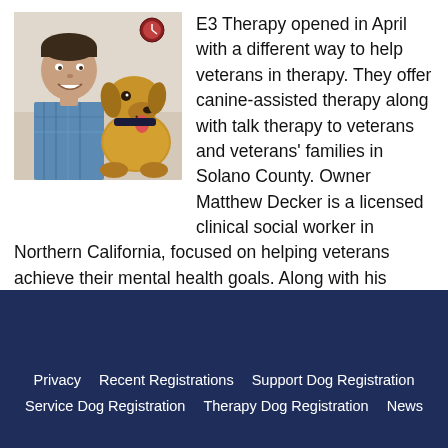[Figure (photo): A man in a blue plaid shirt smiling and posing with a golden retriever dog inside an office or clinic setting.]
E3 Therapy opened in April with a different way to help veterans in therapy. They offer canine-assisted therapy along with talk therapy to veterans and veterans' families in Solano County. Owner Matthew Decker is a licensed clinical social worker in Northern California, focused on helping veterans achieve their mental health goals. Along with his team, […]
Read more
Privacy   Recent Registrations   Support Dog Registration   Service Dog Registration   Therapy Dog Registration   News